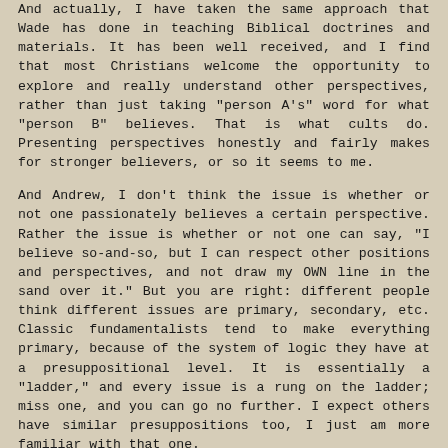And actually, I have taken the same approach that Wade has done in teaching Biblical doctrines and materials. It has been well received, and I find that most Christians welcome the opportunity to explore and really understand other perspectives, rather than just taking "person A's" word for what "person B" believes. That is what cults do. Presenting perspectives honestly and fairly makes for stronger believers, or so it seems to me.
And Andrew, I don't think the issue is whether or not one passionately believes a certain perspective. Rather the issue is whether or not one can say, "I believe so-and-so, but I can respect other positions and perspectives, and not draw my OWN line in the sand over it." But you are right: different people think different issues are primary, secondary, etc. Classic fundamentalists tend to make everything primary, because of the system of logic they have at a presuppositional level. It is essentially a "ladder," and every issue is a rung on the ladder; miss one, and you can go no further. I expect others have similar presuppositions too, I just am more familiar with that one.
John